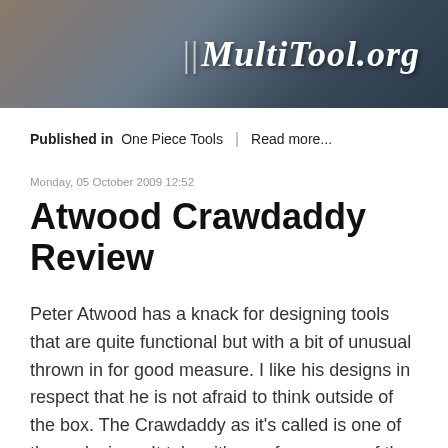[Figure (screenshot): Website header banner with dark blue-grey gradient background and MultiTool.org logo in white italic serif font on the right side]
Published in  One Piece Tools  |  Read more...
Monday, 05 October 2009 12:52
Atwood Crawdaddy Review
Peter Atwood has a knack for designing tools that are quite functional but with a bit of unusual thrown in for good measure. I like his designs in respect that he is not afraid to think outside of the box. The Crawdaddy as it's called is one of those designs. It takes it's cue from some of the wrench designs mixed in with a sense